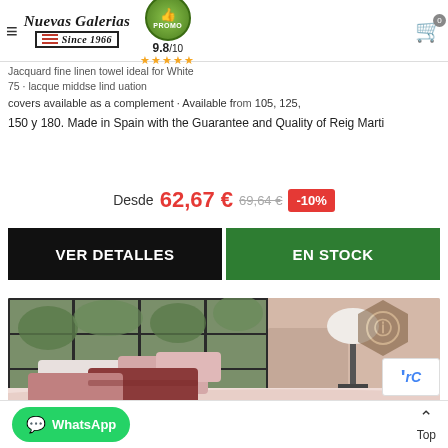Nuevas Galerias Since 1966 — navigation header with logo, rating 9.8/10, stars, cart
covers available as a complement · Available in 105, 125, 150 y 180. Made in Spain with the Guarantee and Quality of Reig Marti
Desde 62,67 € 69,64 € -10%
VER DETALLES | EN STOCK
[Figure (photo): Bedroom scene with pink/rose bedding, multiple pink and burgundy pillows, large window with natural light, lamp on nightstand, warm neutral tones]
WhatsApp | Top